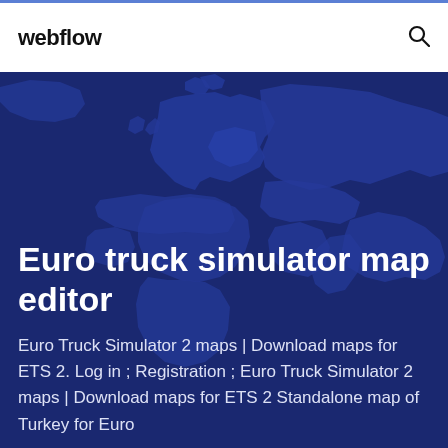webflow
[Figure (map): Dark blue world map background showing Europe, Africa, and parts of Asia as a silhouette map overlay on a deep navy background]
Euro truck simulator map editor
Euro Truck Simulator 2 maps | Download maps for ETS 2. Log in ; Registration ; Euro Truck Simulator 2 maps | Download maps for ETS 2 Standalone map of Turkey for Euro